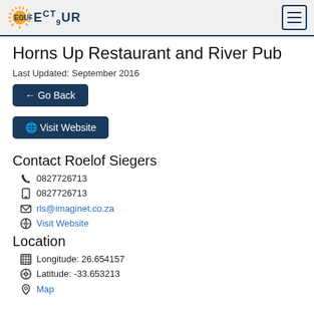ECTOUR
Horns Up Restaurant and River Pub
Last Updated: September 2016
← Go Back
🌐 Visit Website
Contact Roelof Siegers
0827726713
0827726713
rls@imaginet.co.za
Visit Website
Location
Longitude: 26.654157
Latitude: -33.653213
Map